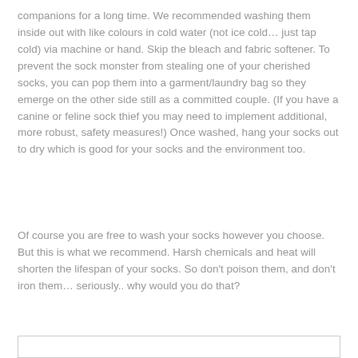companions for a long time. We recommended washing them inside out with like colours in cold water (not ice cold… just tap cold) via machine or hand. Skip the bleach and fabric softener. To prevent the sock monster from stealing one of your cherished socks, you can pop them into a garment/laundry bag so they emerge on the other side still as a committed couple. (If you have a canine or feline sock thief you may need to implement additional, more robust, safety measures!) Once washed, hang your socks out to dry which is good for your socks and the environment too.
Of course you are free to wash your socks however you choose. But this is what we recommend. Harsh chemicals and heat will shorten the lifespan of your socks. So don't poison them, and don't iron them… seriously.. why would you do that?